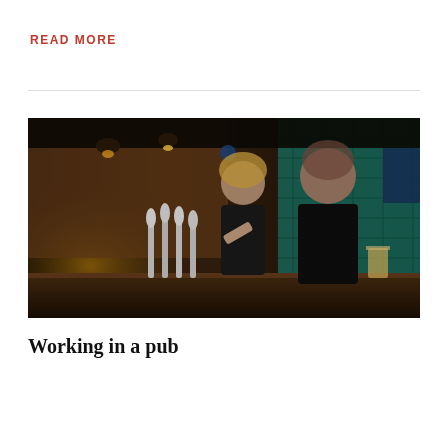READ MORE
[Figure (photo): Two pub staff members in black uniforms at a bar, one woman and one man, both smiling and pulling pints from beer taps in a stylish pub interior with teal brick wall tiles and warm lighting.]
Working in a pub